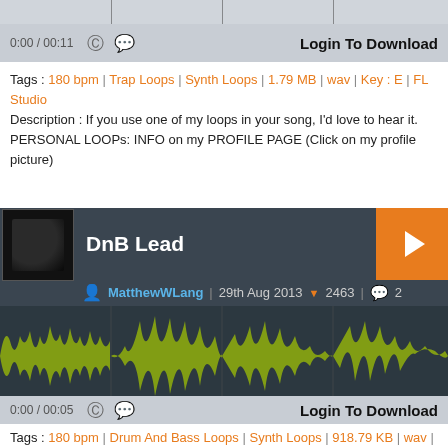[Figure (other): Audio waveform player bar with time 0:00/00:11, copyright icon, chat icon, and Login To Download button]
Tags : 180 bpm | Trap Loops | Synth Loops | 1.79 MB | wav | Key : E | FL Studio
Description : If you use one of my loops in your song, I'd love to hear it. PERSONAL LOOPs: INFO on my PROFILE PAGE (Click on my profile picture)
[Figure (other): DnB Lead audio track block with thumbnail, title, play button, author MatthewWLang, date 29th Aug 2013, 2463 downloads, 2 comments, and waveform visualization]
[Figure (other): Audio player bar with time 0:00/00:05, copyright icon, chat icon, and Login To Download button]
Tags : 180 bpm | Drum And Bass Loops | Synth Loops | 918.79 KB | wav | Key : Unknown